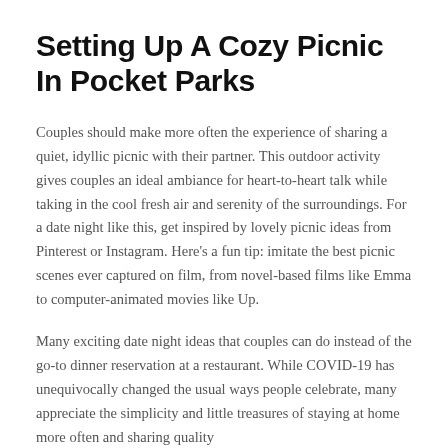Setting Up A Cozy Picnic In Pocket Parks
Couples should make more often the experience of sharing a quiet, idyllic picnic with their partner. This outdoor activity gives couples an ideal ambiance for heart-to-heart talk while taking in the cool fresh air and serenity of the surroundings. For a date night like this, get inspired by lovely picnic ideas from Pinterest or Instagram. Here's a fun tip: imitate the best picnic scenes ever captured on film, from novel-based films like Emma to computer-animated movies like Up.
Many exciting date night ideas that couples can do instead of the go-to dinner reservation at a restaurant. While COVID-19 has unequivocally changed the usual ways people celebrate, many appreciate the simplicity and little treasures of staying at home more often and sharing quality